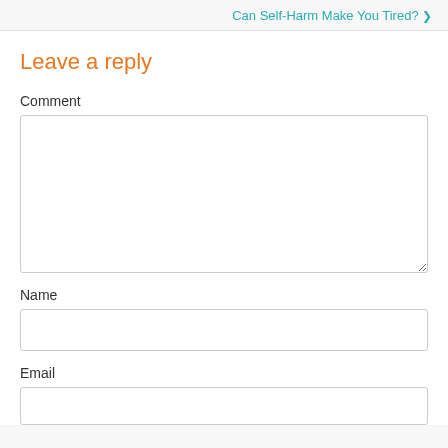Can Self-Harm Make You Tired? ❯
Leave a reply
Comment
Name
Email